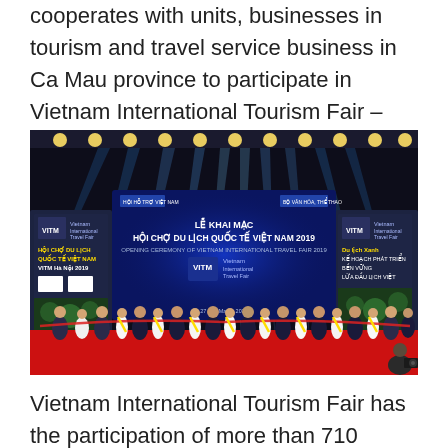cooperates with units, businesses in tourism and travel service business in Ca Mau province to participate in Vietnam International Tourism Fair – VITM Hanoi 2019.
[Figure (photo): Opening ceremony of Vietnam International Tourism Fair (VITM Hanoi 2019) with officials and beauty queens cutting ribbons on stage under colorful spotlights, with VITM banners and backdrop visible.]
Vietnam International Tourism Fair has the participation of more than 710 tourism businesses from 25 countries and